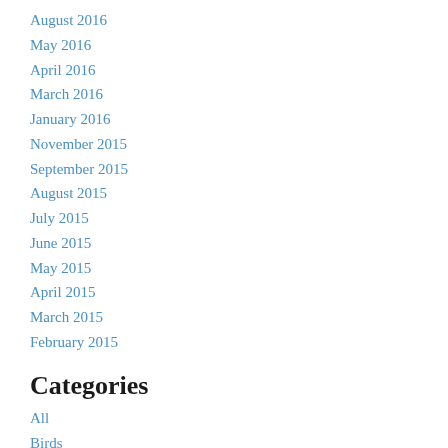August 2016
May 2016
April 2016
March 2016
January 2016
November 2015
September 2015
August 2015
July 2015
June 2015
May 2015
April 2015
March 2015
February 2015
Categories
All
Birds
Camera Trapping
Conference
Connectivity